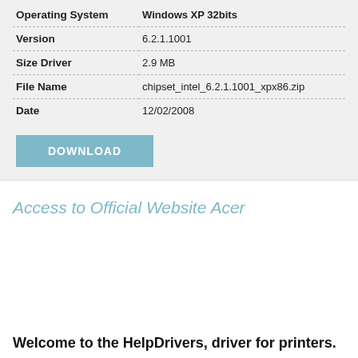| Operating System | Windows XP 32bits |
| --- | --- |
| Version | 6.2.1.1001 |
| Size Driver | 2.9 MB |
| File Name | chipset_intel_6.2.1.1001_xpx86.zip |
| Date | 12/02/2008 |
DOWNLOAD
Access to Official Website Acer
Welcome to the HelpDrivers, driver for printers.